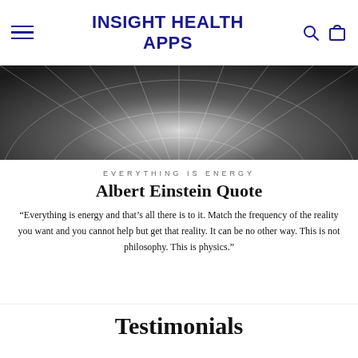INSIGHT HEALTH APPS
[Figure (illustration): Dark spherical/globe wireframe graphic with radial lines converging toward center, grayscale gradient background]
EVERYTHING IS ENERGY
Albert Einstein Quote
“Everything is energy and that’s all there is to it. Match the frequency of the reality you want and you cannot help but get that reality. It can be no other way. This is not philosophy. This is physics.”
Testimonials